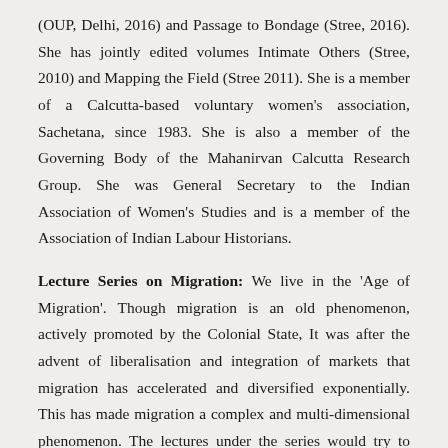(OUP, Delhi, 2016) and Passage to Bondage (Stree, 2016). She has jointly edited volumes Intimate Others (Stree, 2010) and Mapping the Field (Stree 2011). She is a member of a Calcutta-based voluntary women's association, Sachetana, since 1983. She is also a member of the Governing Body of the Mahanirvan Calcutta Research Group. She was General Secretary to the Indian Association of Women's Studies and is a member of the Association of Indian Labour Historians.
Lecture Series on Migration: We live in the 'Age of Migration'. Though migration is an old phenomenon, actively promoted by the Colonial State, It was after the advent of liberalisation and integration of markets that migration has accelerated and diversified exponentially. This has made migration a complex and multi-dimensional phenomenon. The lectures under the series would try to explore these complexities by looking into the relationship between migration and labour processes,